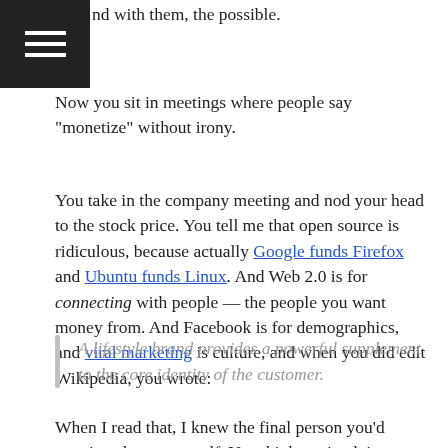nd with them, the possible.
Now you sit in meetings where people say "monetize" without irony.
You take in the company meeting and nod your head to the stock price. You tell me that open source is ridiculous, because actually Google funds Firefox and Ubuntu funds Linux. And Web 2.0 is for connecting with people — the people you want money from. And Facebook is for demographics, and viral marketing is culture, and when you did edit Wikipedia, you wrote:
A lifestyle brand provides a powerful supplement to the core identity of the customer.
When I read that, I knew the final person you'd convinced was yourself. You think you're doing a